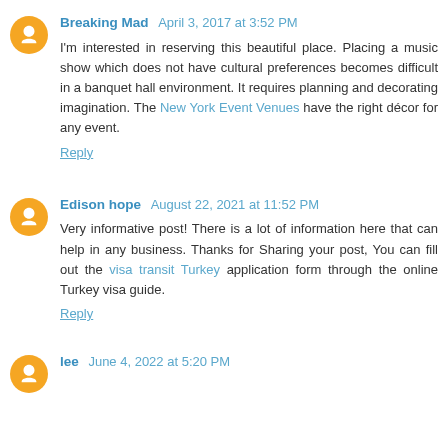Breaking Mad  April 3, 2017 at 3:52 PM
I'm interested in reserving this beautiful place. Placing a music show which does not have cultural preferences becomes difficult in a banquet hall environment. It requires planning and decorating imagination. The New York Event Venues have the right décor for any event.
Reply
Edison hope  August 22, 2021 at 11:52 PM
Very informative post! There is a lot of information here that can help in any business. Thanks for Sharing your post, You can fill out the visa transit Turkey application form through the online Turkey visa guide.
Reply
lee  June 4, 2022 at 5:20 PM